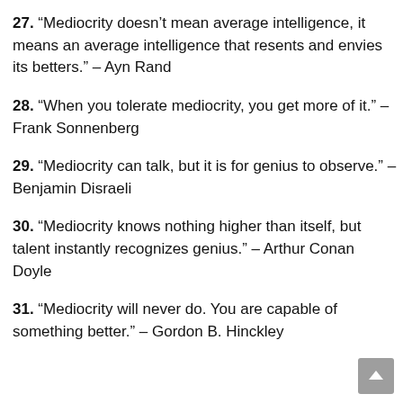27. “Mediocrity doesn’t mean average intelligence, it means an average intelligence that resents and envies its betters.” – Ayn Rand
28. “When you tolerate mediocrity, you get more of it.” – Frank Sonnenberg
29. “Mediocrity can talk, but it is for genius to observe.” – Benjamin Disraeli
30. “Mediocrity knows nothing higher than itself, but talent instantly recognizes genius.” – Arthur Conan Doyle
31. “Mediocrity will never do. You are capable of something better.” – Gordon B. Hinckley